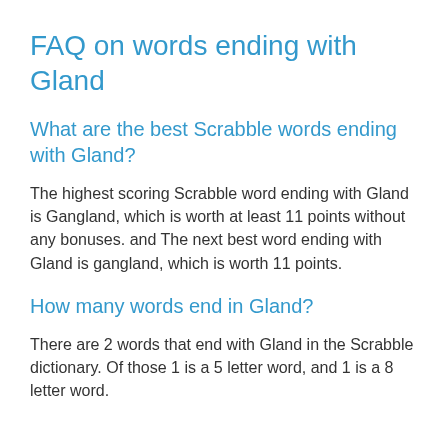FAQ on words ending with Gland
What are the best Scrabble words ending with Gland?
The highest scoring Scrabble word ending with Gland is Gangland, which is worth at least 11 points without any bonuses. and The next best word ending with Gland is gangland, which is worth 11 points.
How many words end in Gland?
There are 2 words that end with Gland in the Scrabble dictionary. Of those 1 is a 5 letter word, and 1 is a 8 letter word.